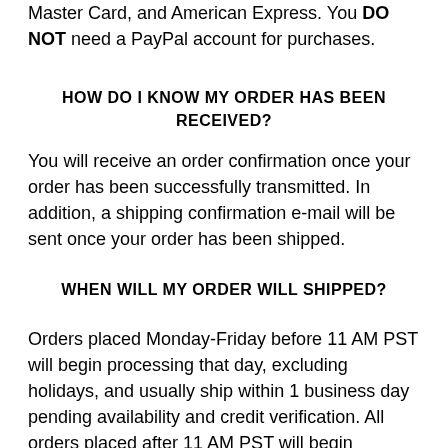Master Card, and American Express. You DO NOT need a PayPal account for purchases.
HOW DO I KNOW MY ORDER HAS BEEN RECEIVED?
You will receive an order confirmation once your order has been successfully transmitted. In addition, a shipping confirmation e-mail will be sent once your order has been shipped.
WHEN WILL MY ORDER WILL SHIPPED?
Orders placed Monday-Friday before 11 AM PST will begin processing that day, excluding holidays, and usually ship within 1 business day pending availability and credit verification. All orders placed after 11 AM PST will begin processing the next business day. Orders placed on Friday after 11 AM PST will begin processing on the following Monday. We will contact